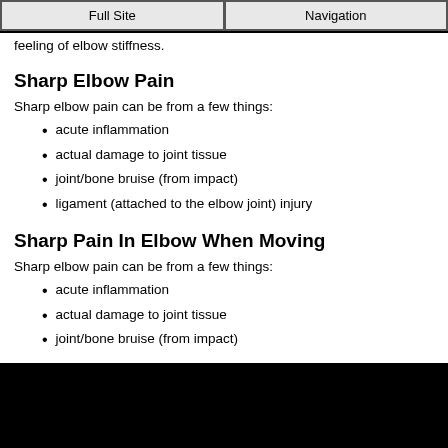Full Site | Navigation
feeling of elbow stiffness.
Sharp Elbow Pain
Sharp elbow pain can be from a few things:
acute inflammation
actual damage to joint tissue
joint/bone bruise (from impact)
ligament (attached to the elbow joint) injury
Sharp Pain In Elbow When Moving
Sharp elbow pain can be from a few things:
acute inflammation
actual damage to joint tissue
joint/bone bruise (from impact)